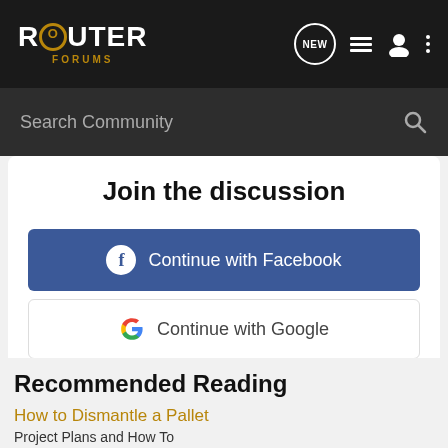[Figure (logo): Router Forums logo with stylized text and golden FORUMS subtitle on dark background]
Search Community
Join the discussion
Continue with Facebook
Continue with Google
or sign up with email
Recommended Reading
How to Dismantle a Pallet
Project Plans and How To